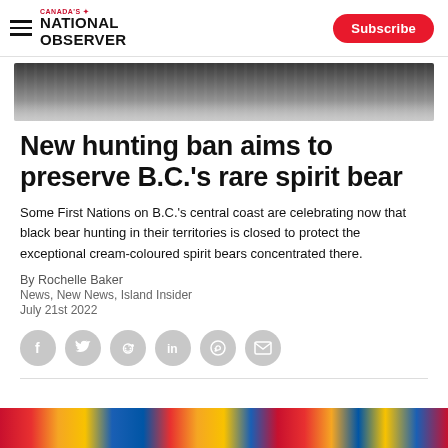Canada's National Observer — Subscribe
[Figure (photo): Black and white photo of a rocky river or waterfall — hero image strip at top of article]
New hunting ban aims to preserve B.C.'s rare spirit bear
Some First Nations on B.C.'s central coast are celebrating now that black bear hunting in their territories is closed to protect the exceptional cream-coloured spirit bears concentrated there.
By Rochelle Baker
News, New News, Island Insider
July 21st 2022
[Figure (infographic): Row of social sharing icons: Facebook, Twitter, Reddit, LinkedIn, WhatsApp, Email]
[Figure (photo): Colourful flags — bottom strip image partially visible]